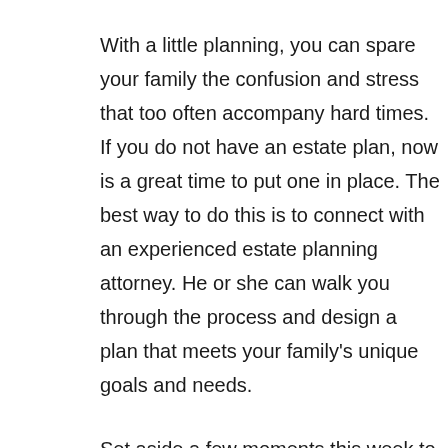With a little planning, you can spare your family the confusion and stress that too often accompany hard times. If you do not have an estate plan, now is a great time to put one in place. The best way to do this is to connect with an experienced estate planning attorney. He or she can walk you through the process and design a plan that meets your family's unique goals and needs.
Set aside a few moments this week to sit down with your spouse and go through this checklist. You'll be so glad you did!